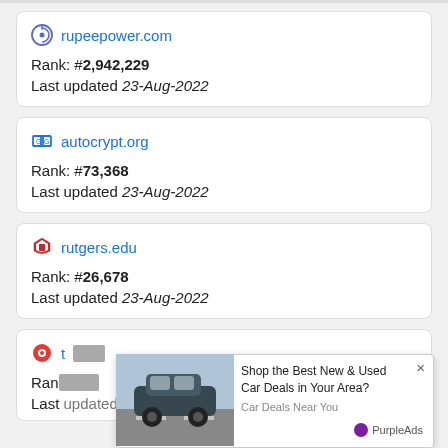rupeepower.com — Rank: #2,942,229 — Last updated 23-Aug-2022
autocrypt.org — Rank: #73,368 — Last updated 23-Aug-2022
rutgers.edu — Rank: #26,678 — Last updated 23-Aug-2022
t[obscured] — Rank: [obscured] — Last updated 23-Aug-2022
[Figure (photo): Car advertisement overlay showing an SUV on a road with text 'Shop the Best New & Used Car Deals in Your Area?' and 'Car Deals Near You', branded by PurpleAds]